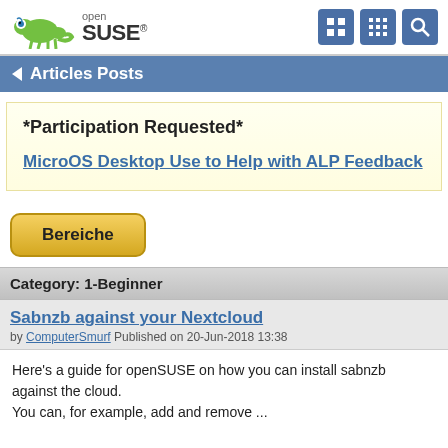openSUSE
Articles Posts
*Participation Requested*
MicroOS Desktop Use to Help with ALP Feedback
Bereiche
Category: 1-Beginner
Sabnzb against your Nextcloud
by ComputerSmurf Published on 20-Jun-2018 13:38
Here's a guide for openSUSE on how you can install sabnzb against the cloud.
You can, for example, add and remove ...